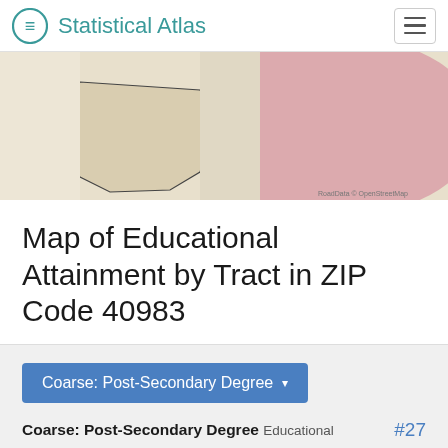Statistical Atlas
[Figure (map): Partial choropleth map showing census tracts with beige/tan and pink/rose colored regions, with outlines of tract boundaries visible. RoadData © OpenStreetMap attribution in bottom right.]
Map of Educational Attainment by Tract in ZIP Code 40983
Coarse: Post-Secondary Degree ▾
Coarse: Post-Secondary Degree  Educational Attainment by Tract  #27